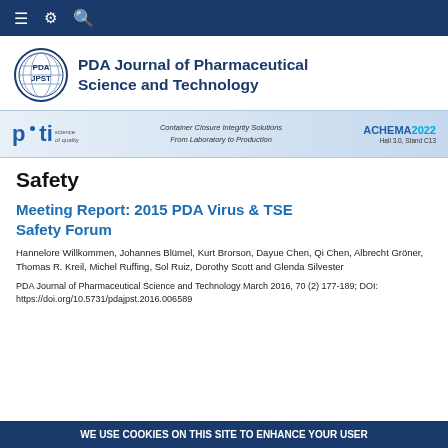≡ ⚙ 🔍
[Figure (logo): PDA JPST circular logo with globe design, next to bold text 'PDA Journal of Pharmaceutical Science and Technology']
[Figure (infographic): PTI science of quality advertisement banner: 'Container Closure Integrity Solutions From Laboratory to Production' ACHEMA 2022 Hall 3.0, Stand C13]
Safety
Meeting Report: 2015 PDA Virus & TSE Safety Forum
Hannelore Willkommen, Johannes Blümel, Kurt Brorson, Dayue Chen, Qi Chen, Albrecht Gröner, Thomas R. Kreil, Michel Ruffing, Sol Ruiz, Dorothy Scott and Glenda Silvester
PDA Journal of Pharmaceutical Science and Technology March 2016, 70 (2) 177-189; DOI: https://doi.org/10.5731/pdajpst.2016.006589
WE USE COOKIES ON THIS SITE TO ENHANCE YOUR USER